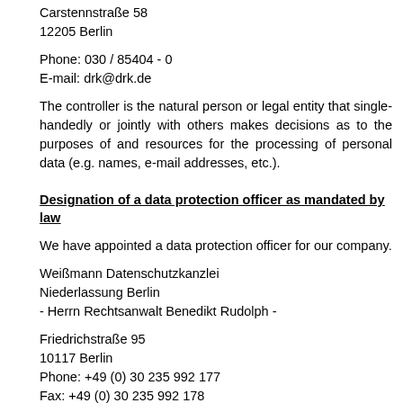Carstennstraße 58
12205 Berlin
Phone: 030 / 85404 - 0
E-mail: drk@drk.de
The controller is the natural person or legal entity that single-handedly or jointly with others makes decisions as to the purposes of and resources for the processing of personal data (e.g. names, e-mail addresses, etc.).
Designation of a data protection officer as mandated by law
We have appointed a data protection officer for our company.
Weißmann Datenschutzkanzlei
Niederlassung Berlin
- Herrn Rechtsanwalt Benedikt Rudolph -
Friedrichstraße 95
10117 Berlin
Phone: +49 (0) 30 235 992 177
Fax: +49 (0) 30 235 992 178